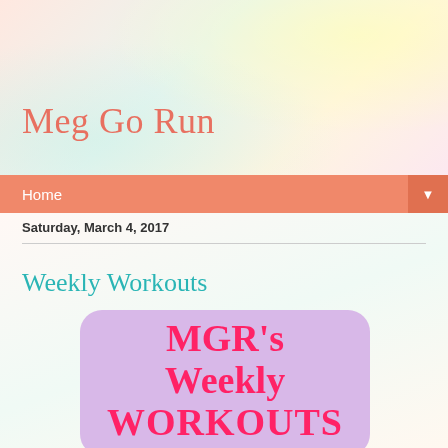[Figure (illustration): Blog header banner with pastel gradient background (peach, mint, yellow tones)]
Meg Go Run
Home ▼
Saturday, March 4, 2017
Weekly Workouts
[Figure (illustration): Purple/lavender rounded rectangle graphic with bold pink/red text reading: MGR's Weekly WORKOUTS]